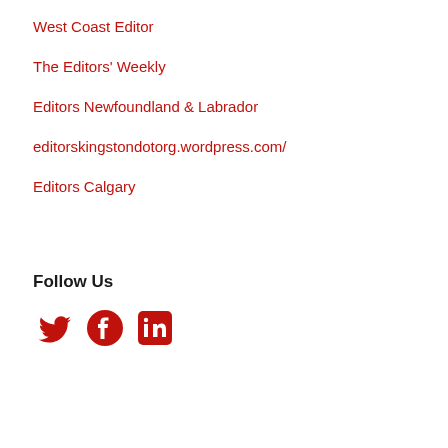West Coast Editor
The Editors' Weekly
Editors Newfoundland & Labrador
editorskingstondotorg.wordpress.com/
Editors Calgary
Follow Us
[Figure (infographic): Three social media icons in red: Twitter bird, Facebook circle, LinkedIn square]